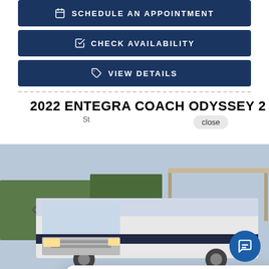SCHEDULE AN APPOINTMENT
CHECK AVAILABILITY
VIEW DETAILS
2022 ENTEGRA COACH ODYSSEY 2...
St...
[Figure (screenshot): Chat popup with cartoon mechanic avatar saying: Let us know how we can help you! Send us a text here. Also shows RV listing photo with PENDING SALE ribbon overlay.]